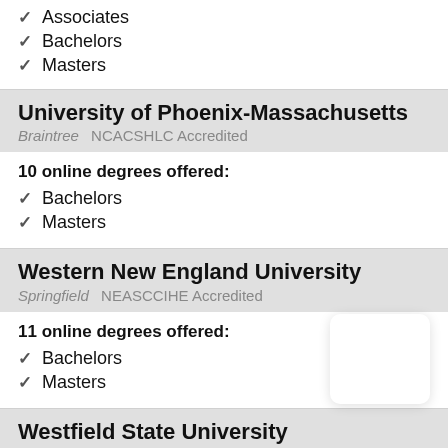Associates
Bachelors
Masters
University of Phoenix-Massachusetts
Braintree   NCACSHLC Accredited
10 online degrees offered:
Bachelors
Masters
Western New England University
Springfield   NEASCCIHE Accredited
11 online degrees offered:
Bachelors
Masters
Westfield State University
Westfield   NEASCCIHE Accredited
4 online degrees offered:
Bachelors
Wheelock College
Boston   NEASCCIHE Accredited